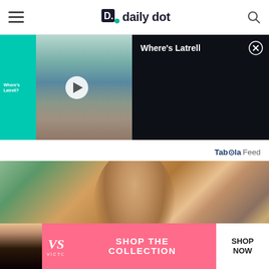daily dot
[Figure (screenshot): Video player showing 'Where's Latrell' with teal background on left, medical scene thumbnail with play button, and dark right panel with title 'Where's Latrell' and close button]
Taboola Feed
[Figure (photo): Smiling bearded man in plaid shirt outdoors near orange building with trees in background]
[Figure (photo): Victoria's Secret advertisement banner with woman, VS logo, 'SHOP THE COLLECTION' text and 'SHOP NOW' button]